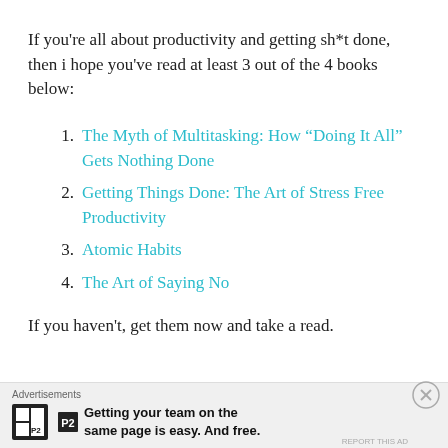If you're all about productivity and getting sh*t done, then i hope you've read at least 3 out of the 4 books below:
The Myth of Multitasking: How “Doing It All” Gets Nothing Done
Getting Things Done: The Art of Stress Free Productivity
Atomic Habits
The Art of Saying No
If you haven't, get them now and take a read.
Advertisements — Getting your team on the same page is easy. And free.